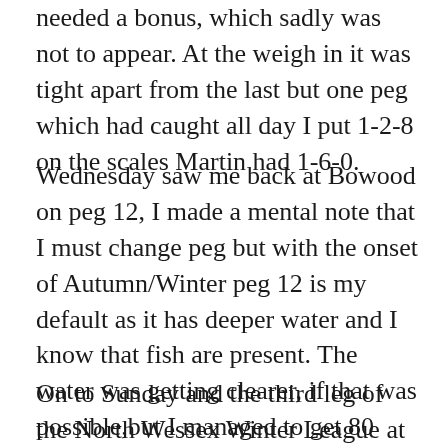needed a bonus, which sadly was not to appear. At the weigh in it was tight apart from the last but one peg  which had caught all day I put 1-2-8 on the scales Martin had 1-6-0.
Wednesday saw me back at Bowood on peg 12, I made a mental note that I must change peg but with the onset of Autumn/Winter peg 12 is my default as it has deeper water and I know that fish are present. The water was getting clearer, if that was possible,but I managed to get 80 small fish for about 5lb on the maggot and missed a run on the pike rod.
On to Sunday and the third leg of the North Wessex Winter League at Lechlade on the Thames. Little flow and clear water meant it